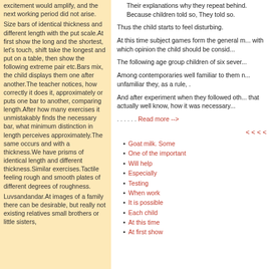excitement would amplify, and the next working period did not arise.
Size bars of identical thickness and different length with the put scale.At first show the long and the shortest, let's touch, shift take the longest and put on a table, then show the following extreme pair etc.Bars mix, the child displays them one after another.The teacher notices, how correctly it does it, approximately or puts one bar to another, comparing length.After how many exercises it unmistakably finds the necessary bar, what minimum distinction in length perceives approximately.The same occurs and with a thickness.We have prisms of identical length and different thickness.Similar exercises.Tactile feeling rough and smooth plates of different degrees of roughness.
Luvsandandar.At images of a family there can be desirable, but really not existing relatives small brothers or little sisters,
Their explanations why they repeat behind. Because children told so, They told so.
Thus the child starts to feel disturbing.
At this time subject games form the general m... with which opinion the child should be consid...
The following age group children of six sever...
Among contemporaries well familiar to them n... unfamiliar they, as a rule, .
And after experiment when they followed oth... that actually well know, how it was necessary...
....... Read more -->
< < < <
Goat milk. Some
One of the important
Will help
Especially
Testing
When work
It is possible
Each child
At this time
At first show